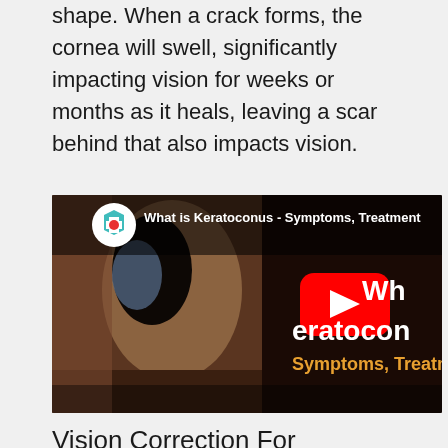shape. When a crack forms, the cornea will swell, significantly impacting vision for weeks or months as it heals, leaving a scar behind that also impacts vision.
[Figure (screenshot): YouTube video thumbnail showing a close-up photo of a human eye with the title 'What is Keratoconus - Symptoms, Treatment' and the YouTube play button overlay. The right side shows partial text 'Who', 'eratocon', 'Symptoms, Treatmen' in white and orange on a dark background.]
Vision Correction For Keratoconus